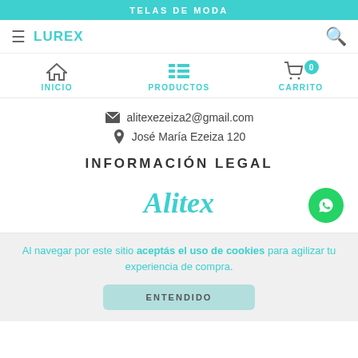TELAS DE MODA
≡ LUREX 🔍
[Figure (screenshot): Navigation icons: home (INICIO), list/products (PRODUCTOS), cart with badge 0 (CARRITO)]
✉ alitexezeiza2@gmail.com
📍 José María Ezeiza 120
INFORMACIÓN LEGAL
[Figure (logo): Alitex brand logo in teal italic script]
Al navegar por este sitio aceptás el uso de cookies para agilizar tu experiencia de compra.
ENTENDIDO